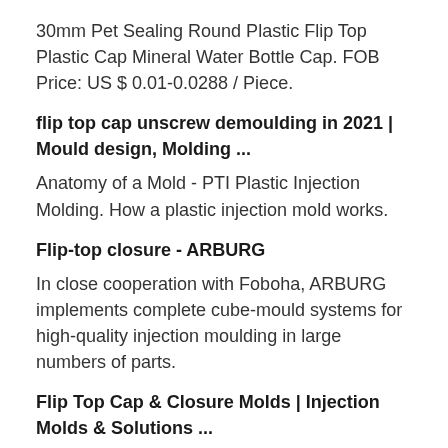30mm Pet Sealing Round Plastic Flip Top Plastic Cap Mineral Water Bottle Cap. FOB Price: US $ 0.01-0.0288 / Piece.
flip top cap unscrew demoulding in 2021 | Mould design, Molding ...
Anatomy of a Mold - PTI Plastic Injection Molding. How a plastic injection mold works.
Flip-top closure - ARBURG
In close cooperation with Foboha, ARBURG implements complete cube-mould systems for high-quality injection moulding in large numbers of parts.
Flip Top Cap & Closure Molds | Injection Molds & Solutions ...
Flip-top Cap & Closure Molds enable a hinge to be incorporated in the plastic part design. Parts are typically molded in the open position and may be ...